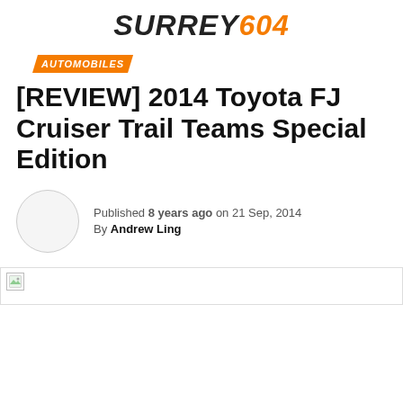SURREY604
AUTOMOBILES
[REVIEW] 2014 Toyota FJ Cruiser Trail Teams Special Edition
Published 8 years ago on 21 Sep, 2014
By Andrew Ling
[Figure (photo): Hero image placeholder (broken image icon visible, image failed to load)]